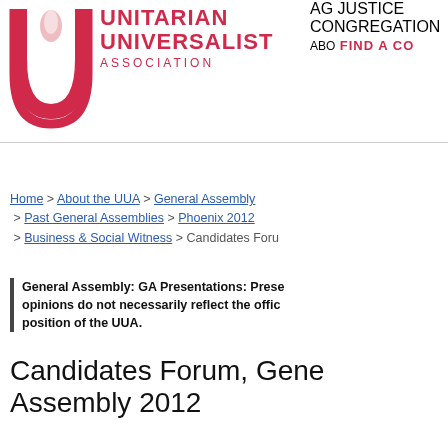[Figure (logo): Unitarian Universalist Association logo with red chalice flame icon and text UNITARIAN UNIVERSALIST ASSOCIATION in red]
AG
JUSTICE
CONGREGATION
ABO
FIND A CO
Home > About the UUA > General Assembly > Past General Assemblies > Phoenix 2012 > Business & Social Witness > Candidates Foru
General Assembly: GA Presentations: Prese opinions do not necessarily reflect the offic position of the UUA.
Candidates Forum, Gene Assembly 2012
from your connection. To continue, please confirm that youâ€™re a human (and not a spambot).